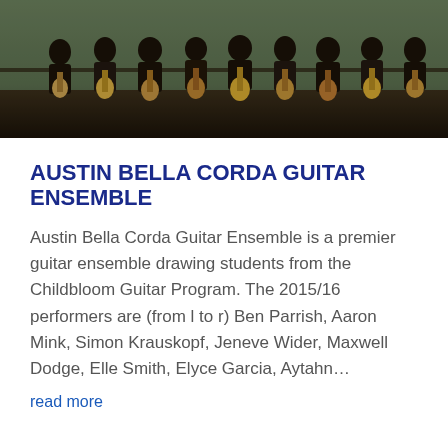[Figure (photo): Group photo of students holding guitars, standing outdoors near a fence or railing]
AUSTIN BELLA CORDA GUITAR ENSEMBLE
Austin Bella Corda Guitar Ensemble is a premier guitar ensemble drawing students from the Childbloom Guitar Program. The 2015/16 performers are (from l to r) Ben Parrish, Aaron Mink, Simon Krauskopf, Jeneve Wider, Maxwell Dodge, Elle Smith, Elyce Garcia, Aytahn…
read more